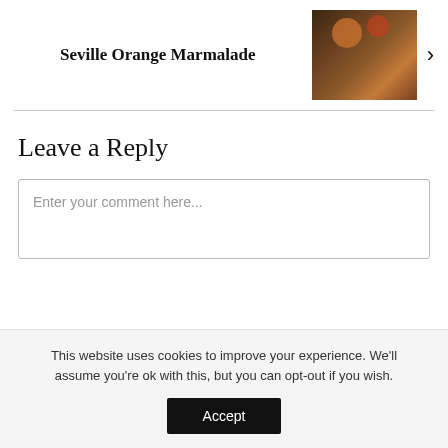Seville Orange Marmalade
[Figure (photo): A dark, moody photograph of food preparation — appears to show hands cutting or preparing ingredients on a surface, with jars and fruit visible.]
Leave a Reply
Enter your comment here...
This website uses cookies to improve your experience. We'll assume you're ok with this, but you can opt-out if you wish.
Accept